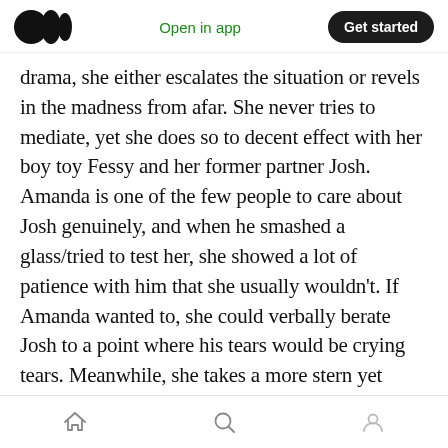Medium logo | Open in app | Get started
drama, she either escalates the situation or revels in the madness from afar. She never tries to mediate, yet she does so to decent effect with her boy toy Fessy and her former partner Josh. Amanda is one of the few people to care about Josh genuinely, and when he smashed a glass/tried to test her, she showed a lot of patience with him that she usually wouldn't. If Amanda wanted to, she could verbally berate Josh to a point where his tears would be crying tears. Meanwhile, she takes a more stern yet reserved approach to Fessy, making him think
Home | Search | Profile